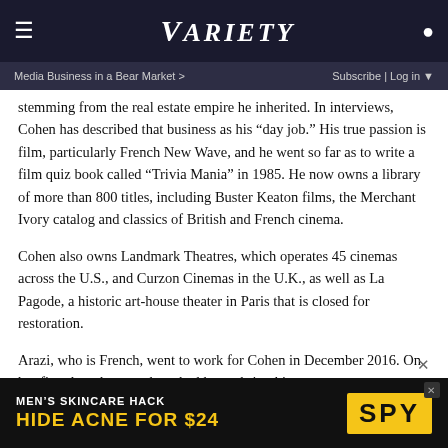VARIETY
Media Business in a Bear Market >   Subscribe | Log in
stemming from the real estate empire he inherited. In interviews, Cohen has described that business as his “day job.” His true passion is film, particularly French New Wave, and he went so far as to write a film quiz book called “Trivia Mania” in 1985. He now owns a library of more than 800 titles, including Buster Keaton films, the Merchant Ivory catalog and classics of British and French cinema.
Cohen also owns Landmark Theatres, which operates 45 cinemas across the U.S., and Curzon Cinemas in the U.K., as well as La Pagode, a historic art-house theater in Paris that is closed for restoration.
Arazi, who is French, went to work for Cohen in December 2016. On her first day, she says, he asked her to bring him a
[Figure (other): Advertisement banner: MEN’S SKINCARE HACK / HIDE ACNE FOR $24 / SPY logo]